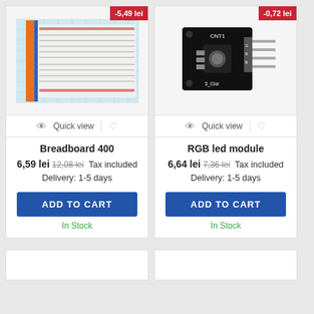[Figure (photo): Breadboard 400 product photo with -5,49 lei discount badge]
Quick view
Breadboard 400
6,59 lei 12,08 lei Tax included
Delivery: 1-5 days
ADD TO CART
In Stock
[Figure (photo): RGB led module product photo with -0,72 lei discount badge]
Quick view
RGB led module
6,64 lei 7,36 lei Tax included
Delivery: 1-5 days
ADD TO CART
In Stock